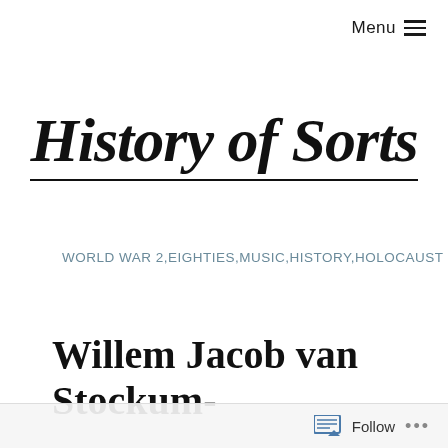Menu ≡
History of Sorts
WORLD WAR 2,EIGHTIES,MUSIC,HISTORY,HOLOCAUST
Willem Jacob van Stockum-